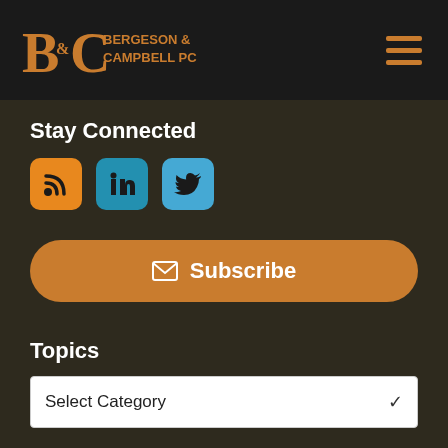Bergeson & Campbell PC
Stay Connected
[Figure (infographic): Three social media icons: RSS (orange), LinkedIn (teal/blue), Twitter (light blue)]
Subscribe (button with envelope icon)
Topics
Select Category (dropdown)
Archives